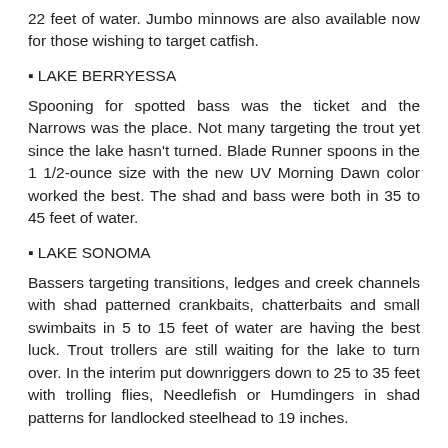22 feet of water. Jumbo minnows are also available now for those wishing to target catfish.
▪ LAKE BERRYESSA
Spooning for spotted bass was the ticket and the Narrows was the place. Not many targeting the trout yet since the lake hasn't turned. Blade Runner spoons in the 1 1/2-ounce size with the new UV Morning Dawn color worked the best. The shad and bass were both in 35 to 45 feet of water.
▪ LAKE SONOMA
Bassers targeting transitions, ledges and creek channels with shad patterned crankbaits, chatterbaits and small swimbaits in 5 to 15 feet of water are having the best luck. Trout trollers are still waiting for the lake to turn over. In the interim put downriggers down to 25 to 35 feet with trolling flies, Needlefish or Humdingers in shad patterns for landlocked steelhead to 19 inches.